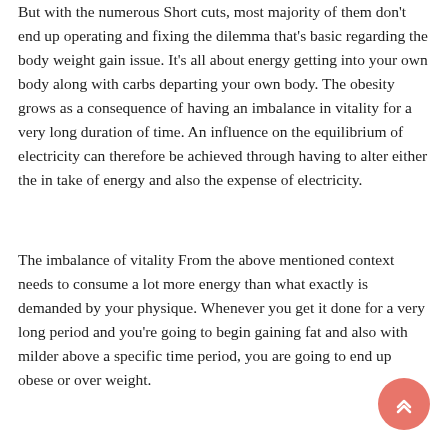But with the numerous Short cuts, most majority of them don't end up operating and fixing the dilemma that's basic regarding the body weight gain issue. It's all about energy getting into your own body along with carbs departing your own body. The obesity grows as a consequence of having an imbalance in vitality for a very long duration of time. An influence on the equilibrium of electricity can therefore be achieved through having to alter either the in take of energy and also the expense of electricity.
The imbalance of vitality From the above mentioned context needs to consume a lot more energy than what exactly is demanded by your physique. Whenever you get it done for a very long period and you're going to begin gaining fat and also with milder above a specific time period, you are going to end up obese or over weight.